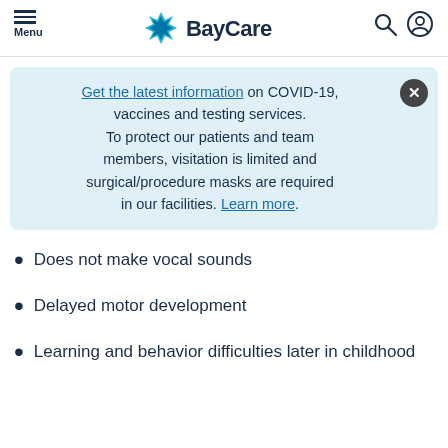Menu | BayCare
Get the latest information on COVID-19, vaccines and testing services. To protect our patients and team members, visitation is limited and surgical/procedure masks are required in our facilities. Learn more.
Does not make vocal sounds
Delayed motor development
Learning and behavior difficulties later in childhood